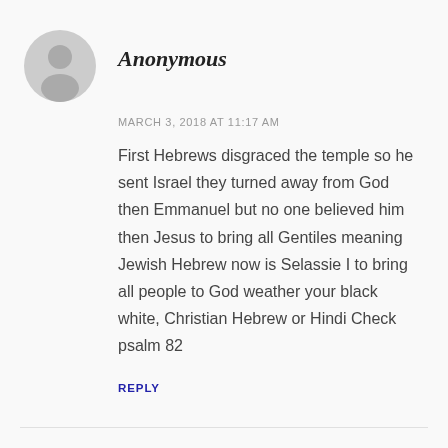[Figure (illustration): Gray circular avatar/profile placeholder icon with silhouette of a person]
Anonymous
MARCH 3, 2018 AT 11:17 AM
First Hebrews disgraced the temple so he sent Israel they turned away from God then Emmanuel but no one believed him then Jesus to bring all Gentiles meaning Jewish Hebrew now is Selassie I to bring all people to God weather your black white, Christian Hebrew or Hindi Check psalm 82
REPLY